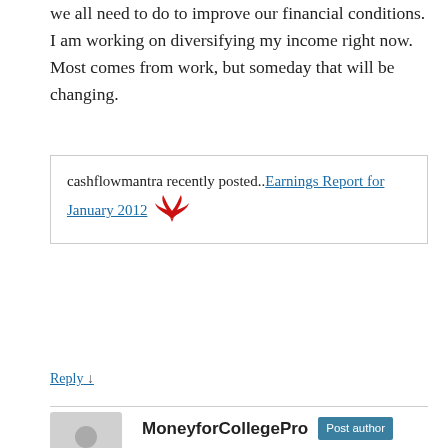we all need to do to improve our financial conditions. I am working on diversifying my income right now. Most comes from work, but someday that will be changing.
cashflowmantra recently posted..Earnings Report for January 2012 [wing icon]
Reply ↓
MoneyforCollegePro  Post author
February 6, 2012 at 9:34 am
@Cash Flow – I think you are well on your way to diversifying! I seem to see you pop up everywhere, so I know you are on the right track!
Reply ↓